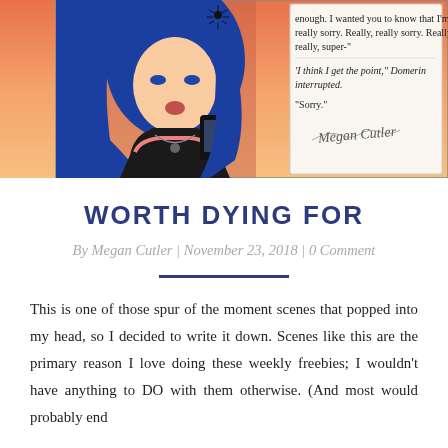[Figure (illustration): Manga/anime style illustration: a blue-haired girl with black choker, necklace, and pink-accented black top holding a phone; orange/pink sunset sky background. Text panels on the right: '...enough. I wanted you to know that I'm really sorry. Really, really sorry. Really, really, super-' and 'I think I get the point,' Domerin interrupted. 'Sorry.' with a signature 'Megan Cutler']
WORTH DYING FOR
By Megan Cutler | November 23, 2018 | 0 Comment
This is one of those spur of the moment scenes that popped into my head, so I decided to write it down. Scenes like this are the primary reason I love doing these weekly freebies; I wouldn't have anything to DO with them otherwise. (And most would probably end